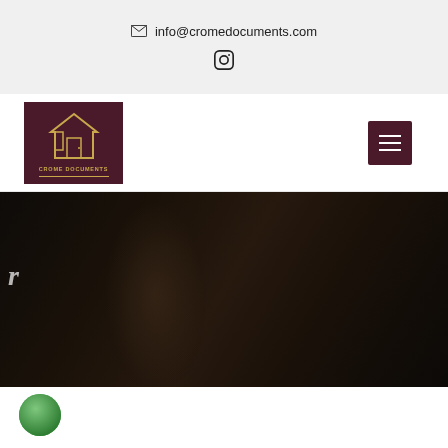info@cromedocuments.com
[Figure (logo): Crome Documents logo: dark maroon background with golden house/door icon and text CROME DOCUMENTS]
[Figure (photo): Dark overlay hero image showing a person in a dimly lit room, website banner background]
[Figure (illustration): Partial green circle at bottom left, likely part of a badge or icon]